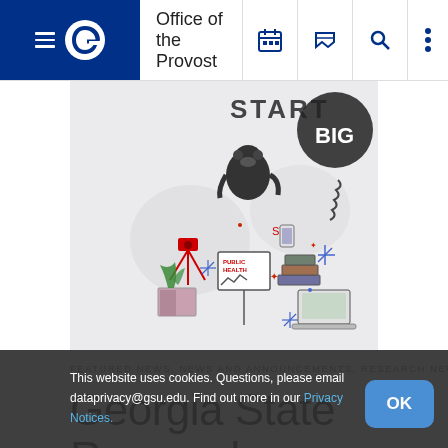Office of the Provost
[Figure (illustration): Hand-drawn illustration with various doodles including a gorilla, camera, public health sign, books, laptop, and the text START and BIG]
FEATURED NEWS, NEWS AND ANNOUNCEMENTS, RESEARCH NEWS
Georgia State Research Magazine: Seven Great Moments in Georgia State Research History
This website uses cookies. Questions, please email dataprivacy@gsu.edu. Find out more in our Privacy Notices.